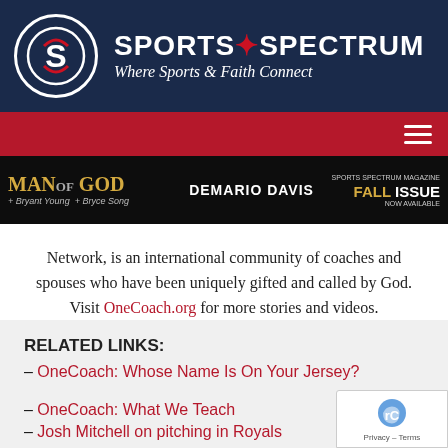SPORTS SPECTRUM — Where Sports & Faith Connect
[Figure (logo): Sports Spectrum logo with circular S emblem and text 'SPORTS SPECTRUM / Where Sports & Faith Connect' on dark navy background]
[Figure (photo): Man of God podcast banner featuring DeMario Davis, Bryant Young, Bryce Song. Sports Spectrum Magazine Fall Issue Now Available ad on right.]
Network, is an international community of coaches and spouses who have been uniquely gifted and called by God. Visit OneCoach.org for more stories and videos.
RELATED LINKS:
– OneCoach: Whose Name Is On Your Jersey?
– OneCoach: What We Teach
– Josh Mitchell on pitching in Royals